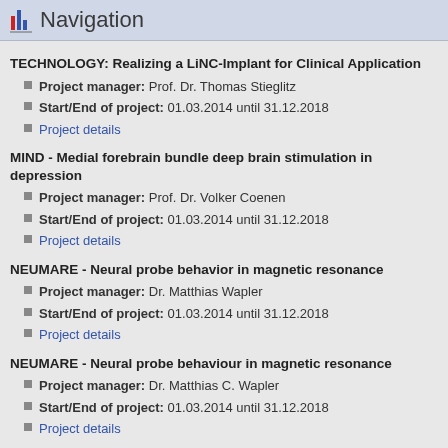Navigation
TECHNOLOGY: Realizing a LiNC-Implant for Clinical Application
Project manager: Prof. Dr. Thomas Stieglitz
Start/End of project: 01.03.2014 until 31.12.2018
Project details
MIND - Medial forebrain bundle deep brain stimulation in depression
Project manager: Prof. Dr. Volker Coenen
Start/End of project: 01.03.2014 until 31.12.2018
Project details
NEUMARE - Neural probe behavior in magnetic resonance
Project manager: Dr. Matthias Wapler
Start/End of project: 01.03.2014 until 31.12.2018
Project details
NEUMARE - Neural probe behaviour in magnetic resonance
Project manager: Dr. Matthias C. Wapler
Start/End of project: 01.03.2014 until 31.12.2018
Project details